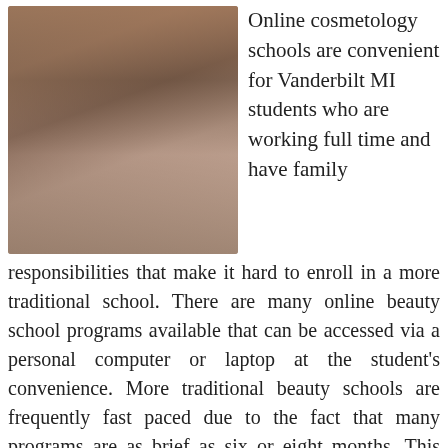[Figure (photo): Woman with glasses sitting at a wooden desk working on a MacBook laptop in a brick-walled room, with a dark coffee mug and papers nearby]
Online cosmetology schools are convenient for Vanderbilt MI students who are working full time and have family responsibilities that make it hard to enroll in a more traditional school. There are many online beauty school programs available that can be accessed via a personal computer or laptop at the student's convenience. More traditional beauty schools are frequently fast paced due to the fact that many programs are as brief as six or eight months. This means that a considerable portion of time is spent in the classroom. With internet courses, you are covering the same volume of material, but you are not devoting many hours outside of your home or travelling to and from classes. On the other hand, it's imperative that the